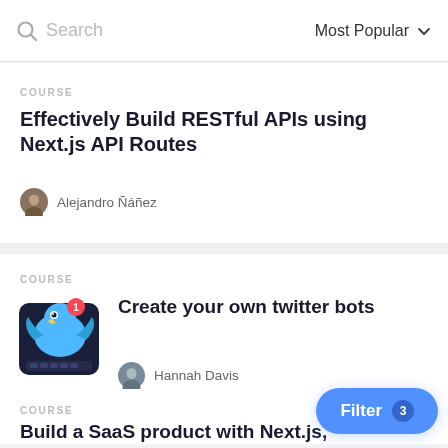Search | Most Popular
COURSE
Effectively Build RESTful APIs using Next.js API Routes
Alejandro Ñáñez
COURSE
Create your own twitter bots
Hannah Davis
COURSE
Build a SaaS product with Next.js, S and Stripe
Jon Meyers